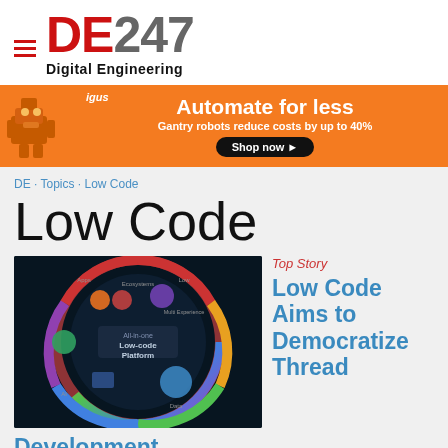DE247 Digital Engineering
[Figure (infographic): igus ad banner: Automate for less - Gantry robots reduce costs by up to 40% - Shop now button]
DE · Topics · Low Code
Low Code
[Figure (screenshot): Dark circular diagram showing All-in-one Low-code Platform with icons for Ecosystems, Apps, AI, Flows, Data, and other components]
Top Story
Low Code Aims to Democratize Thread
Development